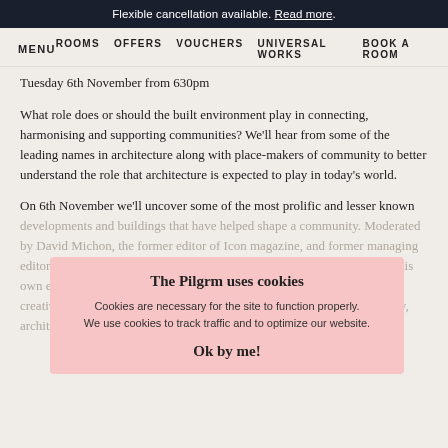Flexible cancellation available. Read more.
MENU   ROOMS   OFFERS   VOUCHERS   UNIVERSAL WORKS   BOOK A ROOM
Tuesday 6th November from 630pm
What role does or should the built environment play in connecting, harmonising and supporting communities? We'll hear from some of the leading names in architecture along with place-makers of community to better understand the role that architecture is expected to play in today's world.
On 6th November we'll uncover some of the most prolific and lesser known developments and buildings that have helped shape a community. Moderated by David Michon, the former editor of Icon magazine, and former managing editor of Monocle magazine and Winkreative creative agency. He set up his own editorial consultancy, Squaremeal, in January of 2016, focusing on creative projects across a range of categories, largely focusing on property, architecture and design.
The Pilgrm uses cookies
Cookies are necessary for the site to function properly. We use cookies to track traffic and to optimize our website.
Ok by me!
About the panel: